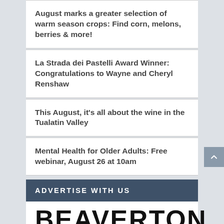August marks a greater selection of warm season crops: Find corn, melons, berries & more!
La Strada dei Pastelli Award Winner: Congratulations to Wayne and Cheryl Renshaw
This August, it’s all about the wine in the Tualatin Valley
Mental Health for Older Adults: Free webinar, August 26 at 10am
ADVERTISE WITH US
[Figure (logo): Beaverton logo with text BEAVERTON in large bold letters, ·SINCE 1988· below with horizontal lines on each side]